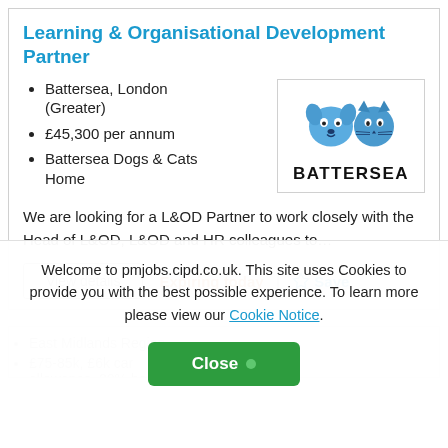Learning & Organisational Development Partner
Battersea, London (Greater)
£45,300 per annum
Battersea Dogs & Cats Home
[Figure (logo): Battersea Dogs & Cats Home logo with two cartoon animals (dog and cat) and text BATTERSEA]
We are looking for a L&OD Partner to work closely with the Head of L&OD, L&OD and HR colleagues to…
View details
Expiring today
Save
East Midlands Region
£75-85k, £6k car allowance, 20% bonus
Welcome to pmjobs.cipd.co.uk. This site uses Cookies to provide you with the best possible experience. To learn more please view our Cookie Notice.
Close